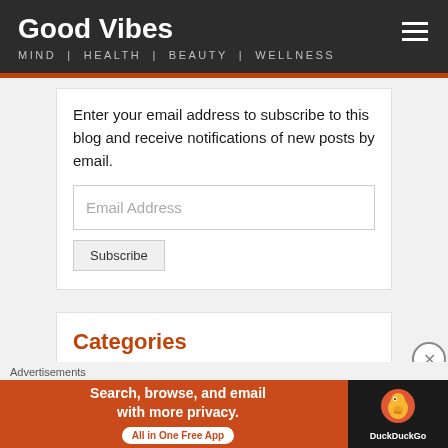Good Vibes — MIND | HEALTH | BEAUTY | WELLNESS
Enter your email address to subscribe to this blog and receive notifications of new posts by email.
Categories
Advertisements
[Figure (screenshot): DuckDuckGo advertisement banner: Search, browse, and email with more privacy. All in One Free App. DuckDuckGo logo on dark background.]